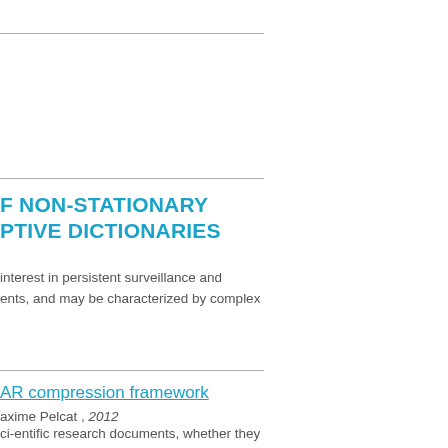F NON-STATIONARY PTIVE DICTIONARIES
interest in persistent surveillance and ents, and may be characterized by complex
AR compression framework
axime Pelcat , 2012
ci-entific research documents, whether they in France or abroad, or from public or